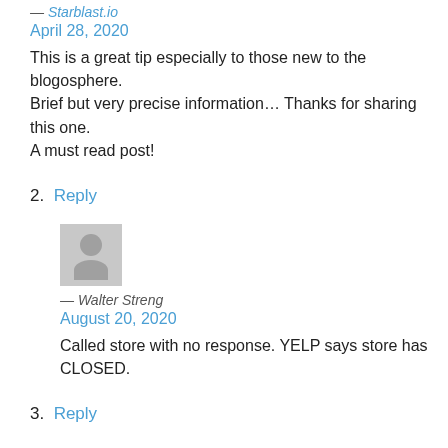— Starblast.io
April 28, 2020
This is a great tip especially to those new to the blogosphere.
Brief but very precise information… Thanks for sharing this one.
A must read post!
2. Reply
[Figure (illustration): Gray avatar placeholder icon for Walter Streng]
— Walter Streng
August 20, 2020
Called store with no response. YELP says store has CLOSED.
3. Reply